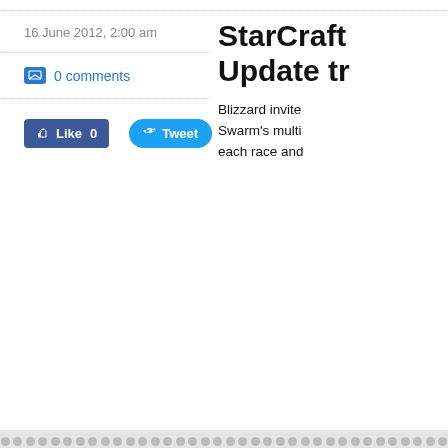16 June 2012, 2:00 am
0 comments
[Figure (screenshot): Like 0 button (Facebook) and Tweet button (Twitter)]
StarCraft Update tr
Blizzard invite Swarm's multi each race and
[Figure (screenshot): Video carousel with three video thumbnails: StarCraft II Patch 2.1 Overview Trailer, StarCraft II V2.0.10 Patch Trailer, and a partially visible third video. Left arrow navigation button visible.]
STARCRAFT II PATCH 2.1 OVERVIEW TRAILER
STARCRAFT II V2.0.10 PATCH TRAILER
STARCR. SWAR
StarCraft II: Heart of the Swarm PC